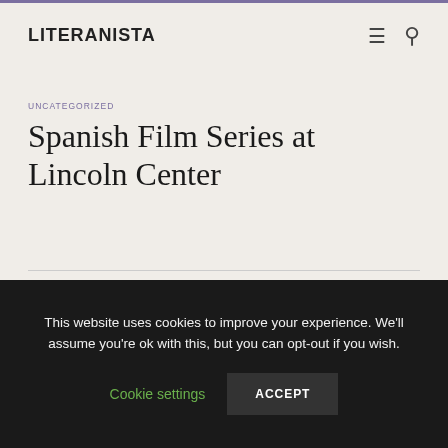LITERANISTA
UNCATEGORIZED
Spanish Film Series at Lincoln Center
This website uses cookies to improve your experience. We'll assume you're ok with this, but you can opt-out if you wish.
Cookie settings
ACCEPT